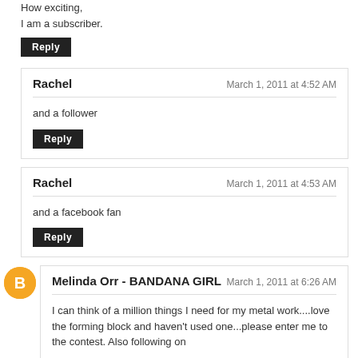How exciting,
I am a subscriber.
Reply
Rachel — March 1, 2011 at 4:52 AM
and a follower
Reply
Rachel — March 1, 2011 at 4:53 AM
and a facebook fan
Reply
Melinda Orr - BANDANA GIRL — March 1, 2011 at 6:26 AM
I can think of a million things I need for my metal work....love the forming block  and haven't used one...please enter me to the contest. Also following on

facebook and blog